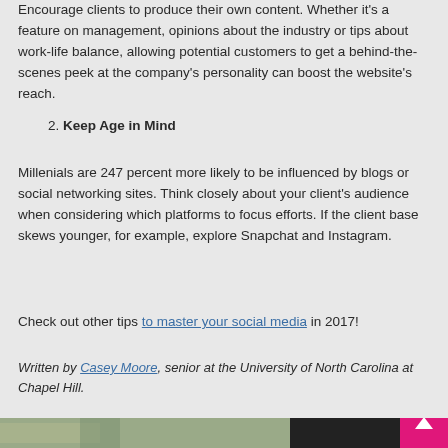Encourage clients to produce their own content. Whether it's a feature on management, opinions about the industry or tips about work-life balance, allowing potential customers to get a behind-the-scenes peek at the company's personality can boost the website's reach.
2. Keep Age in Mind
Millenials are 247 percent more likely to be influenced by blogs or social networking sites. Think closely about your client's audience when considering which platforms to focus efforts. If the client base skews younger, for example, explore Snapchat and Instagram.
Check out other tips to master your social media in 2017!
Written by Casey Moore, senior at the University of North Carolina at Chapel Hill.
[Figure (photo): Photograph of buildings/street scene, partially visible at bottom of page]